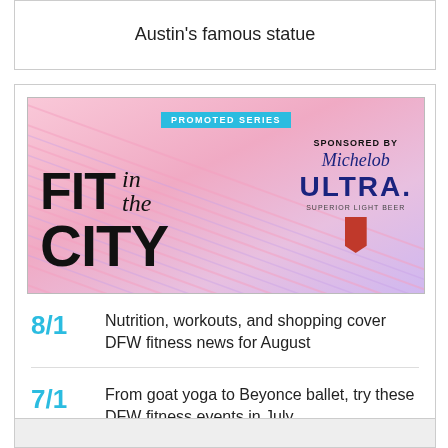Austin's famous statue
[Figure (infographic): Fit in the City promoted series banner, sponsored by Michelob ULTRA. Pink and purple gradient background with diagonal lines. Blue 'PROMOTED SERIES' label at top center. Large bold text 'FIT in the CITY' on left, 'SPONSORED BY Michelob ULTRA SUPERIOR LIGHT BEER' with red ribbon logo on right.]
8/1 Nutrition, workouts, and shopping cover DFW fitness news for August
7/1 From goat yoga to Beyonce ballet, try these DFW fitness events in July
6/1 Fitness-focused Texans should check out these workout ideas for June